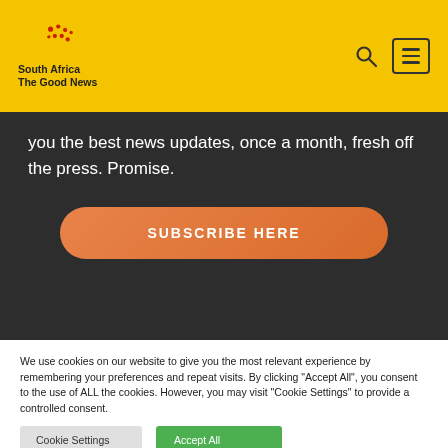South Africa The Good News
you the best news updates, once a month, fresh off the press. Promise.
SUBSCRIBE HERE
We use cookies on our website to give you the most relevant experience by remembering your preferences and repeat visits. By clicking "Accept All", you consent to the use of ALL the cookies. However, you may visit "Cookie Settings" to provide a controlled consent.
Cookie Settings
Accept All